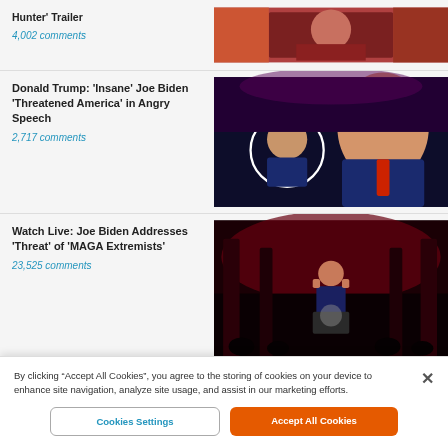Hunter' Trailer
4,002 comments
[Figure (photo): Man in a military or official setting, close-up portrait photo]
Donald Trump: 'Insane' Joe Biden 'Threatened America' in Angry Speech
2,717 comments
[Figure (photo): Photo composite of Joe Biden in a circle inset and Donald Trump in the foreground]
Watch Live: Joe Biden Addresses 'Threat' of 'MAGA Extremists'
23,525 comments
[Figure (photo): Joe Biden speaking at a podium with red dramatic lighting in background]
Joe Biden Calls on...
[Figure (photo): Partial image of a news article thumbnail]
By clicking “Accept All Cookies”, you agree to the storing of cookies on your device to enhance site navigation, analyze site usage, and assist in our marketing efforts.
Cookies Settings
Accept All Cookies